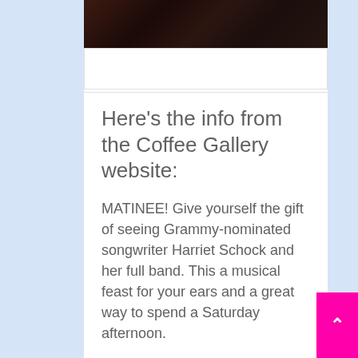[Figure (photo): Dark photo of people gathered around tables at what appears to be an event or performance venue]
Here's the info from the Coffee Gallery website:
MATINEE! Give yourself the gift of seeing Grammy-nominated songwriter Harriet Schock and her full band. This a musical feast for your ears and a great way to spend a Saturday afternoon.